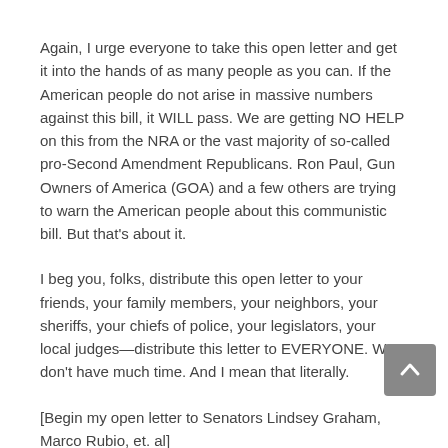Again, I urge everyone to take this open letter and get it into the hands of as many people as you can. If the American people do not arise in massive numbers against this bill, it WILL pass. We are getting NO HELP on this from the NRA or the vast majority of so-called pro-Second Amendment Republicans. Ron Paul, Gun Owners of America (GOA) and a few others are trying to warn the American people about this communistic bill. But that's about it.
I beg you, folks, distribute this open letter to your friends, your family members, your neighbors, your sheriffs, your chiefs of police, your legislators, your local judges—distribute this letter to EVERYONE. We don't have much time. And I mean that literally.
[Begin my open letter to Senators Lindsey Graham, Marco Rubio, et. al]
I know I am speaking for tens of thousands of my fellow